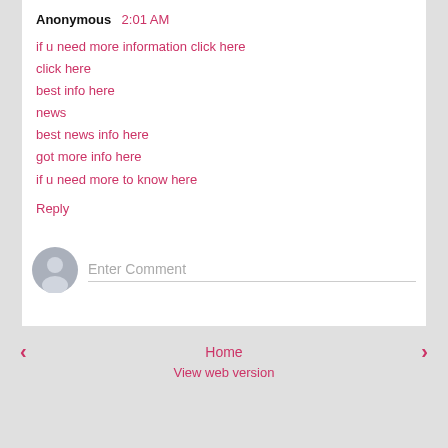Anonymous  2:01 AM
if u need more information click here
click here
best info here
news
best news info here
got more info here
if u need more to know here
Reply
[Figure (other): Comment input area with avatar icon and Enter Comment placeholder]
Load more...
‹   Home   ›
View web version